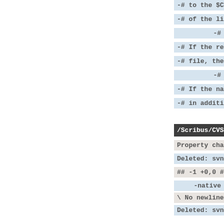-# to the $CVSROOT. For the first match tha
-# of the line is the name of th
-#
-# If the repository name does not match any o
-# file, the "DEFAULT" line is use
-#
-# If the name "ALL" appears as a regular e
-# in addition to the first matching r
/Scribus/CVSROOT/con
Property changes
Deleted: svn:eol-st
## -1 +0,0 ##
-native
\ No newline at end of p
Deleted: svn:keywo
## -1 +0,0 ##
-Author Date Id Revi
\ No newline at end of p
Index: Scribus/CVSROO
====================================